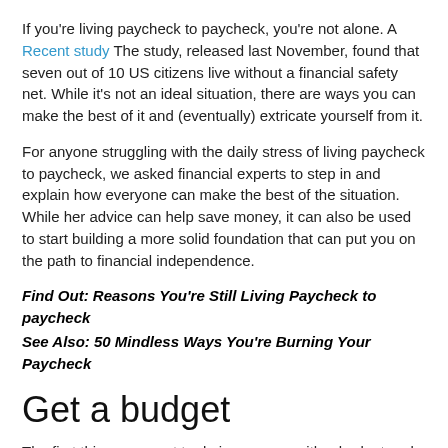If you're living paycheck to paycheck, you're not alone. A Recent study The study, released last November, found that seven out of 10 US citizens live without a financial safety net. While it's not an ideal situation, there are ways you can make the best of it and (eventually) extricate yourself from it.
For anyone struggling with the daily stress of living paycheck to paycheck, we asked financial experts to step in and explain how everyone can make the best of the situation. While her advice can help save money, it can also be used to start building a more solid foundation that can put you on the path to financial independence.
Find Out: Reasons You're Still Living Paycheck to paycheck
See Also: 50 Mindless Ways You're Burning Your Paycheck
Get a budget
The first thing you want to do is come up with a budget and stick to it.